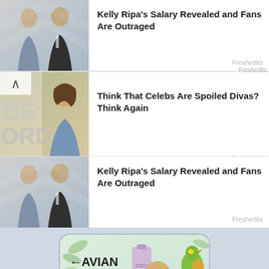[Figure (photo): Couple (man and woman) in formal attire at red carpet event]
Kelly Ripa's Salary Revealed and Fans Are Outraged
Freshedits
[Figure (photo): Celebrity woman in blue dress at award show with BE ORD signage visible]
Think That Celebs Are Spoiled Divas? Think Again
Freshedits
[Figure (photo): Same couple (man and woman) in formal attire at red carpet event]
Kelly Ripa's Salary Revealed and Fans Are Outraged
Freshedits
[Figure (illustration): Avian Organics advertisement banner with bird, food items and logo]
< Tags